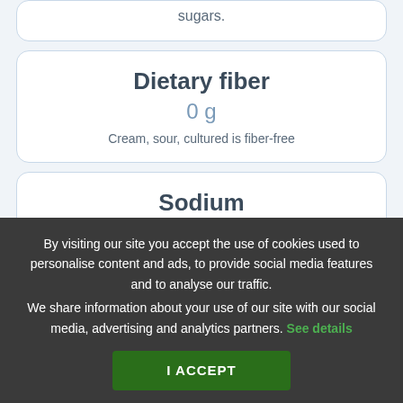sugars.
Dietary fiber
0 g
Cream, sour, cultured is fiber-free
Sodium
47 mg
By visiting our site you accept the use of cookies used to personalise content and ads, to provide social media features and to analyse our traffic. We share information about your use of our site with our social media, advertising and analytics partners. See details
I ACCEPT